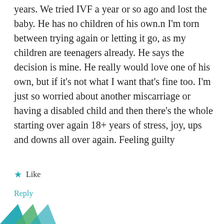years. We tried IVF a year or so ago and lost the baby. He has no children of his own.n I'm torn between trying again or letting it go, as my children are teenagers already. He says the decision is mine. He really would love one of his own, but if it's not what I want that's fine too. I'm just so worried about another miscarriage or having a disabled child and then there's the whole starting over again 18+ years of stress, joy, ups and downs all over again. Feeling guilty
★ Like
Reply